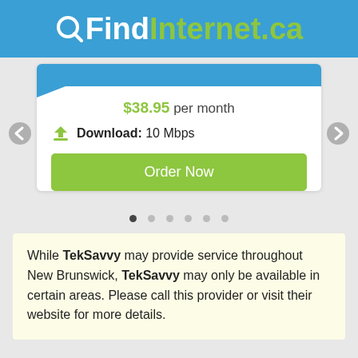QFindInternet.ca
$38.95 per month
Download: 10 Mbps
Order Now
While TekSavvy may provide service throughout New Brunswick, TekSavvy may only be available in certain areas. Please call this provider or visit their website for more details.